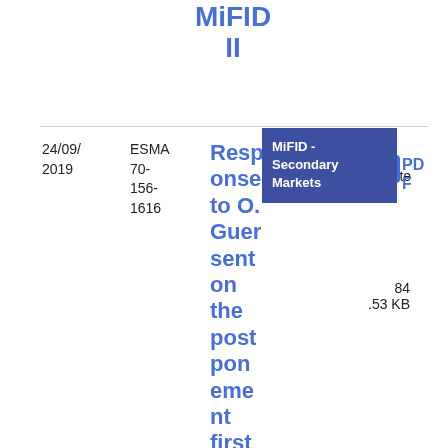MiFID II
24/09/2019
ESMA 70-156-1616
Response to O. Guersent on the postponement first RTS 2 annual report
[Figure (other): Tooltip box showing MiFID - Secondary Markets label in dark blue/purple background]
Lette r
PDF
84.53 KB